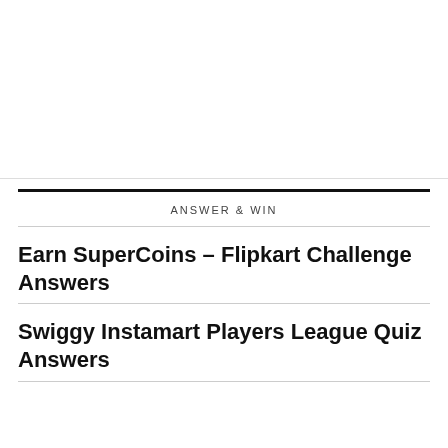ANSWER & WIN
Earn SuperCoins – Flipkart Challenge Answers
Swiggy Instamart Players League Quiz Answers